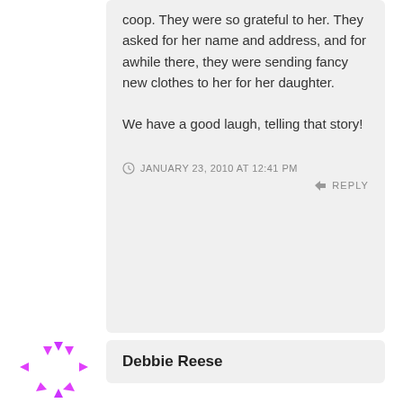coop. They were so grateful to her. They asked for her name and address, and for awhile there, they were sending fancy new clothes to her for her daughter.

We have a good laugh, telling that story!
JANUARY 23, 2010 AT 12:41 PM
REPLY
[Figure (illustration): Circular avatar icon with pink/magenta arrow-like geometric shapes arranged in a ring]
Debbie Reese